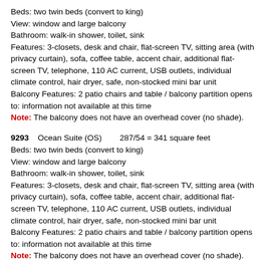Beds: two twin beds (convert to king)
View: window and large balcony
Bathroom: walk-in shower, toilet, sink
Features: 3-closets, desk and chair, flat-screen TV, sitting area (with privacy curtain), sofa, coffee table, accent chair, additional flat-screen TV, telephone, 110 AC current, USB outlets, individual climate control, hair dryer, safe, non-stocked mini bar unit
Balcony Features: 2 patio chairs and table / balcony partition opens to: information not available at this time
Note: The balcony does not have an overhead cover (no shade).
9293    Ocean Suite (OS)        287/54 = 341 square feet
Beds: two twin beds (convert to king)
View: window and large balcony
Bathroom: walk-in shower, toilet, sink
Features: 3-closets, desk and chair, flat-screen TV, sitting area (with privacy curtain), sofa, coffee table, accent chair, additional flat-screen TV, telephone, 110 AC current, USB outlets, individual climate control, hair dryer, safe, non-stocked mini bar unit
Balcony Features: 2 patio chairs and table / balcony partition opens to: information not available at this time
Note: The balcony does not have an overhead cover (no shade).
9294    Ocean Suite (OS)        287/54 = 341 square feet